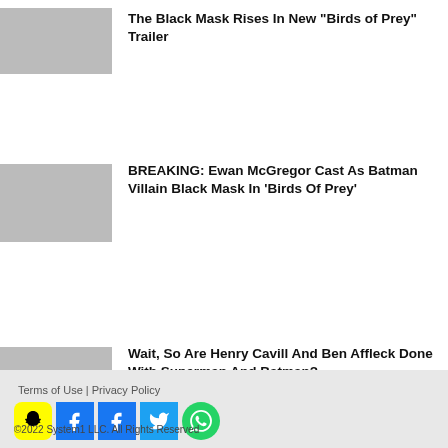The Black Mask Rises In New "Birds of Prey" Trailer
BREAKING: Ewan McGregor Cast As Batman Villain Black Mask In 'Birds Of Prey'
Wait, So Are Henry Cavill And Ben Affleck Done With Superman And Batman?
FIRST LOOK: Ruby Rose's Batwoman Leaks Online
WATCH: 'Harley Quinn' Cartoon Trailer Throws Shade At DC's Dark, Gritty Movies
Terms of Use | Privacy Policy
©2022 System1 LLC. All Rights Reserved